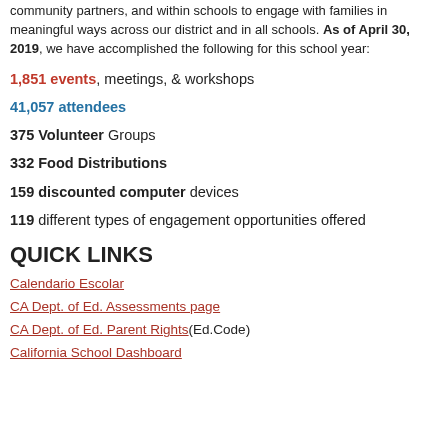community partners, and within schools to engage with families in meaningful ways across our district and in all schools. As of April 30, 2019, we have accomplished the following for this school year:
1,851 events, meetings, & workshops
41,057 attendees
375 Volunteer Groups
332 Food Distributions
159 discounted computer devices
119 different types of engagement opportunities offered
QUICK LINKS
Calendario Escolar
CA Dept. of Ed. Assessments page
CA Dept. of Ed. Parent Rights (Ed.Code)
California School Dashboard